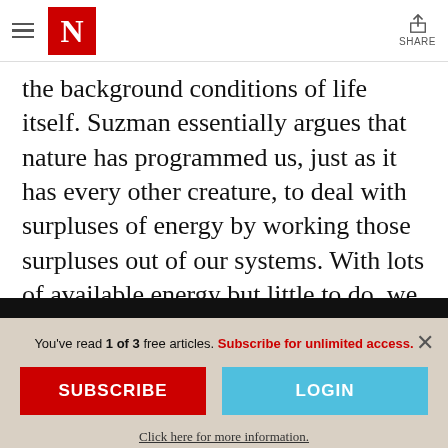The New Yorker — N logo header with share button
the background conditions of life itself. Suzman essentially argues that nature has programmed us, just as it has every other creature, to deal with surpluses of energy by working those surpluses out of our systems. With lots of available energy but little to do, we make work to release the tensions
You've read 1 of 3 free articles. Subscribe for unlimited access.
SUBSCRIBE
LOGIN
Click here for more information.